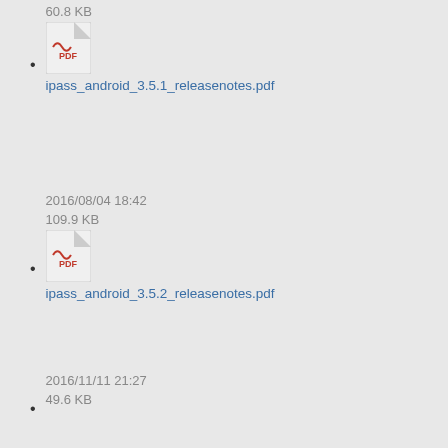60.8 KB
ipass_android_3.5.1_releasenotes.pdf
2016/08/04 18:42
109.9 KB
ipass_android_3.5.2_releasenotes.pdf
2016/11/11 21:27
49.6 KB
ipass_android_3.5.3_releasenotes.pdf
2016/12/12 23:09
50.1 KB
ipass_android_3.5.41_releasenotes.pdf